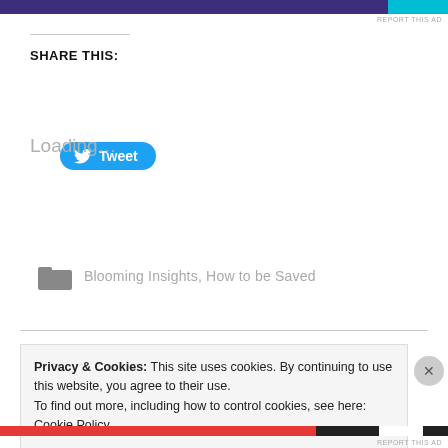[Figure (other): Dark purple and cyan advertisement banner at top of page]
SHARE THIS:
[Figure (other): Twitter Tweet button (blue rounded button with bird icon and 'Tweet' text)]
Loading...
Blooming Insights, How to be Saved
Privacy & Cookies: This site uses cookies. By continuing to use this website, you agree to their use.
To find out more, including how to control cookies, see here: Cookie Policy
Close and accept